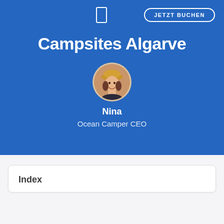JETZT BUCHEN
Campsites Algarve
[Figure (photo): Circular avatar photo of a woman named Nina, wearing a hat, smiling]
Nina
Ocean Camper CEO
Index